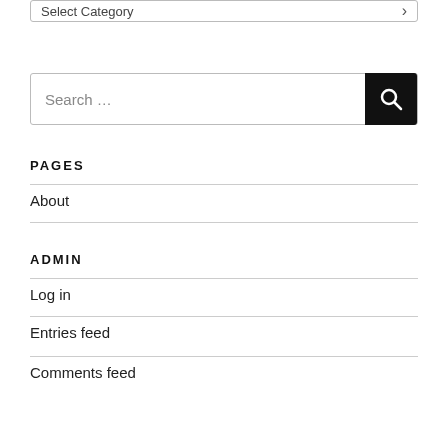Select Category
Search …
PAGES
About
ADMIN
Log in
Entries feed
Comments feed